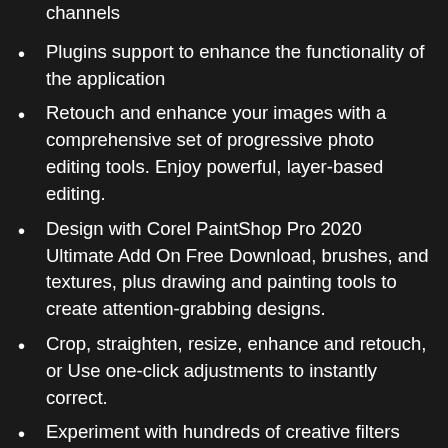channels
Plugins support to enhance the functionality of the application
Retouch and enhance your images with a comprehensive set of progressive photo editing tools. Enjoy powerful, layer-based editing.
Design with Corel PaintShop Pro 2020 Ultimate Add On Free Download, brushes, and textures, plus drawing and painting tools to create attention-grabbing designs.
Crop, straighten, resize, enhance and retouch, or Use one-click adjustments to instantly correct.
Experiment with hundreds of creative filters and fun effects to make your photos pop.
Eliminate imperfections and unwanted photo elements, from a small scratch to an entire background.
Put your favorite tools to the test and experience